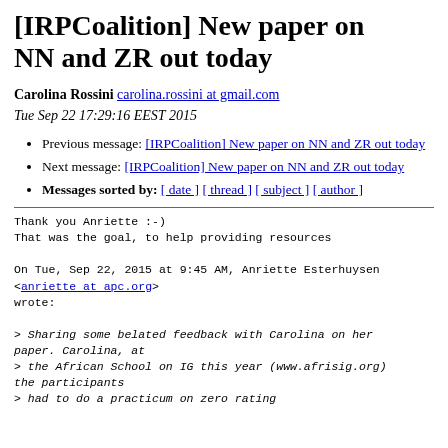[IRPCoalition] New paper on NN and ZR out today
Carolina Rossini carolina.rossini at gmail.com
Tue Sep 22 17:29:16 EEST 2015
Previous message: [IRPCoalition] New paper on NN and ZR out today
Next message: [IRPCoalition] New paper on NN and ZR out today
Messages sorted by: [ date ] [ thread ] [ subject ] [ author ]
Thank you Anriette :-)
That was the goal, to help providing resources

On Tue, Sep 22, 2015 at 9:45 AM, Anriette Esterhuysen
<anriette at apc.org>
wrote:

> Sharing some belated feedback with Carolina on her paper. Carolina, at
> the African School on IG this year (www.afrisig.org) the participants
> had to do a practicum on zero rating